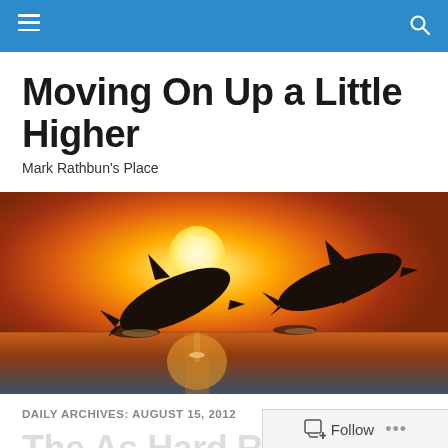Moving On Up a Little Higher — navigation bar
Moving On Up a Little Higher
Mark Rathbun's Place
[Figure (photo): Two dolphins leaping out of the ocean at sunset, silhouetted against an orange and golden sky with the sun in the background and its reflection on the water below.]
DAILY ARCHIVES: AUGUST 15, 2012
The As Hard Ro Is G…